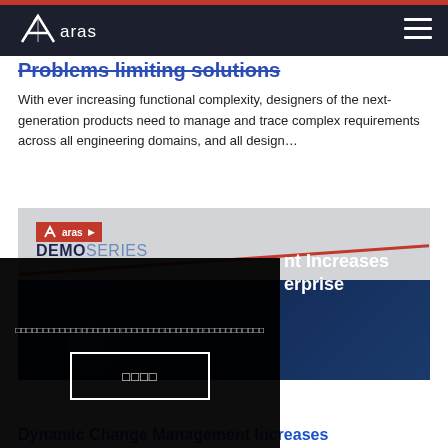[Figure (logo): Aras logo in white on dark navy navbar with red top bar and hamburger menu icon]
Problems limiting solutions
With ever increasing functional complexity, designers of the next-generation products need to manage and trace complex requirements across all engineering domains, and all design…
[Figure (screenshot): Aras Demo Series branded image with dark blue diagonal design and planet imagery]
[Figure (screenshot): Modal overlay on dark background with cookie/consent text and a button with square symbols, overlaid on Demo Series image showing partial text 'nt Increases erprise']
Dynamic Change Management Increases